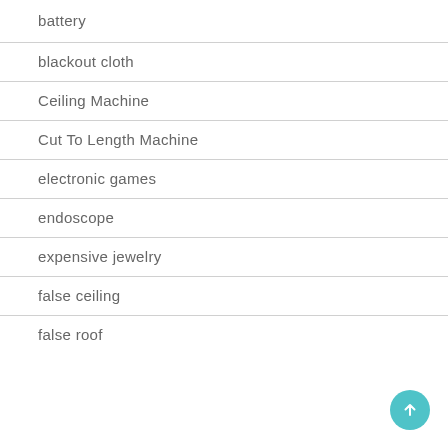battery
blackout cloth
Ceiling Machine
Cut To Length Machine
electronic games
endoscope
expensive jewelry
false ceiling
false roof